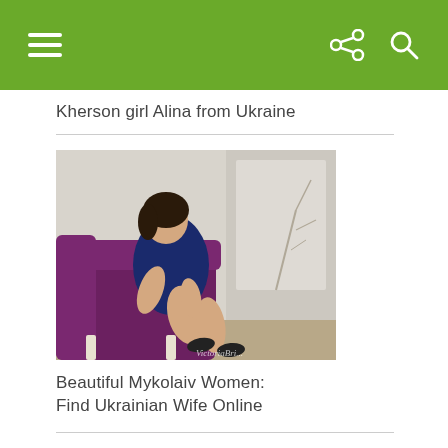Kherson girl Alina from Ukraine
[Figure (photo): A young woman with dark hair wearing a navy blue lace dress, seated on a purple velvet sofa/chair in a studio setting with a decorative wall background. She wears black high heels. Watermark reads VictoriaBri...]
Beautiful Mykolaiv Women: Find Ukrainian Wife Online